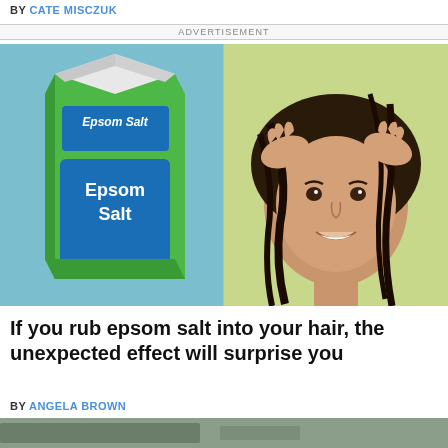BY CATE MISCZUK
ADVERTISEMENT
[Figure (illustration): Two-panel advertisement illustration. Left panel: green Epsom Salt carton on a blue-grey background with text 'Epsom Salt' on a blue label. Right panel: cartoon/illustrated woman with dark hair massaging her scalp, smiling, on a green background.]
If you rub epsom salt into your hair, the unexpected effect will surprise you
BY ANGELA BROWN